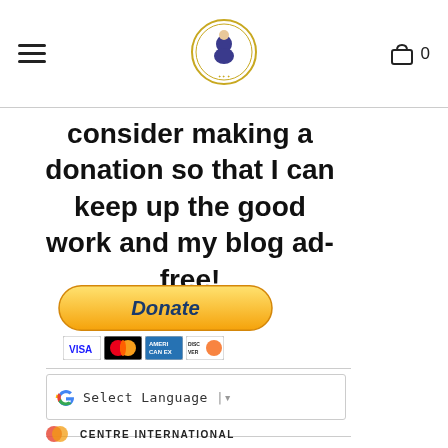Navigation header with hamburger menu, site logo, and shopping cart (0)
consider making a donation so that I can keep up the good work and my blog ad-free!
[Figure (other): PayPal Donate button with payment card icons (VISA, MasterCard, American Express, Discover)]
[Figure (other): Google Translate Select Language widget]
[Figure (logo): Centre International logo at bottom of page]